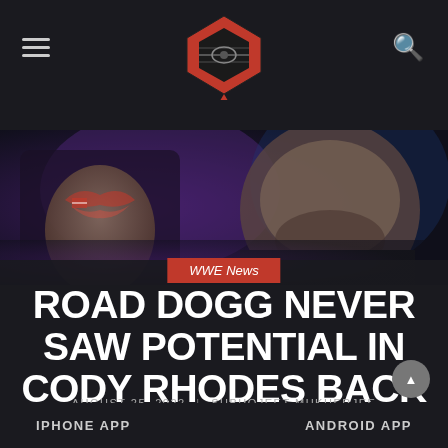≡  [WWE Ring Logo]  🔍
[Figure (photo): Close-up photo of a wrestler with a neck tattoo and stubble beard, dark background with purple/blue lighting]
WWE News
ROAD DOGG NEVER SAW POTENTIAL IN CODY RHODES BACK IN 2014
AUGUST 25, 2022 | SUBHOJEET MUKHERJEE
IPHONE APP    ANDROID APP